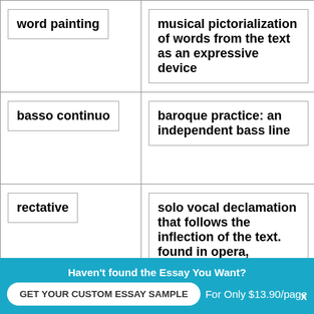| Term | Definition |
| --- | --- |
| word painting | musical pictorialization of words from the text as an expressive device |
| basso continuo | baroque practice: an independent bass line |
| rectative | solo vocal declamation that follows the inflection of the text. found in opera, cantata, oratorio |
Haven't found the Essay You Want?
GET YOUR CUSTOM ESSAY SAMPLE
For Only $13.90/page
x